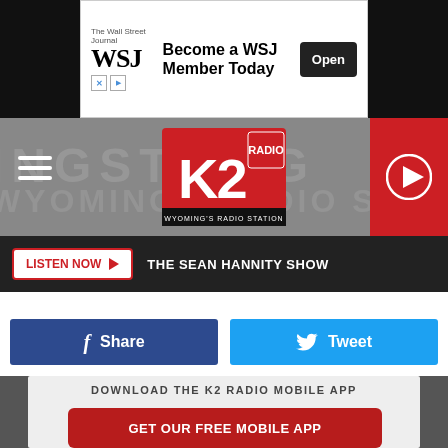[Figure (screenshot): WSJ advertisement banner: 'Become a WSJ Member Today' with Open button]
[Figure (logo): K2 Radio logo with hamburger menu and play button]
LISTEN NOW  THE SEAN HANNITY SHOW
[Figure (screenshot): Share on Facebook and Tweet social sharing buttons]
DOWNLOAD THE K2 RADIO MOBILE APP
GET OUR FREE MOBILE APP
Also listen on: amazon alexa
[Figure (screenshot): Advertisement: Back To School Essentials - Leesburg Premium Outlets]